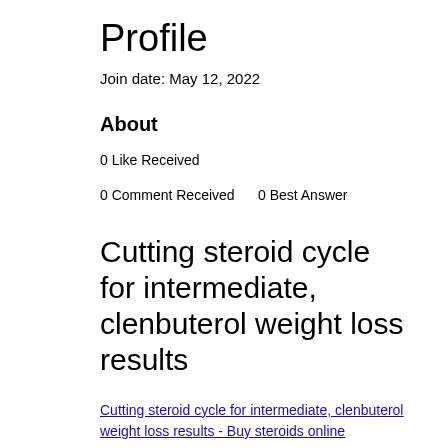Profile
Join date: May 12, 2022
About
0 Like Received
0 Comment Received    0 Best Answer
Cutting steroid cycle for intermediate, clenbuterol weight loss results
Cutting steroid cycle for intermediate, clenbuterol weight loss results - Buy steroids online